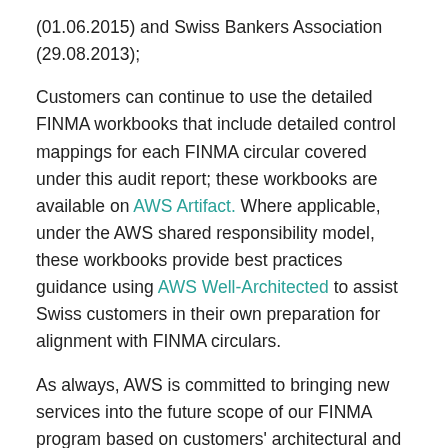(01.06.2015) and Swiss Bankers Association (29.08.2013);
Customers can continue to use the detailed FINMA workbooks that include detailed control mappings for each FINMA circular covered under this audit report; these workbooks are available on AWS Artifact. Where applicable, under the AWS shared responsibility model, these workbooks provide best practices guidance using AWS Well-Architected to assist Swiss customers in their own preparation for alignment with FINMA circulars.
As always, AWS is committed to bringing new services into the future scope of our FINMA program based on customers' architectural and regulatory needs. Please reach out to your AWS account team if you have questions or feedback about the FINMA report.
If you have feedback about this post, submit comments in